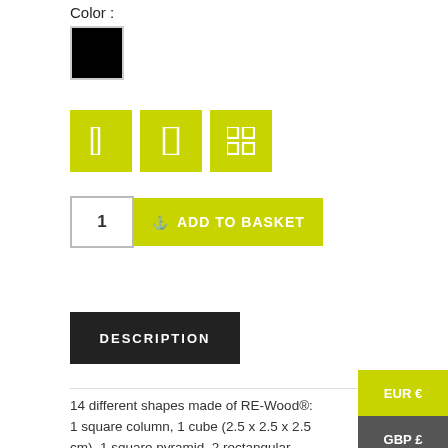Color :
[Figure (other): Black color swatch square]
[Figure (other): Three yellow-green view/layout icon buttons]
[Figure (other): Quantity box showing 1 and yellow-green ADD TO BASKET button]
DESCRIPTION
14 different shapes made of RE-Wood®:
1 square column, 1 cube (2.5 x 2.5 x 2.5 cm), 1 square pyramid, 2 rectangular columns, 2 triangular columns, 1
[Figure (other): Currency selector panel with EUR € and GBP £ options]